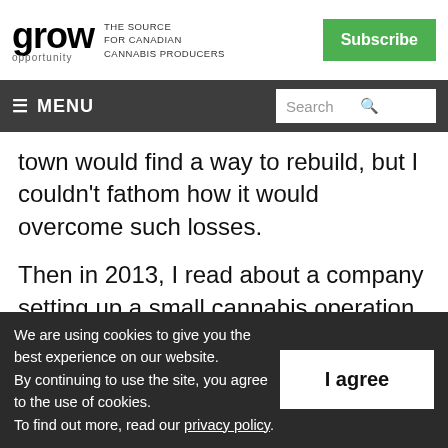grow opportunity — THE SOURCE FOR CANADIAN CANNABIS PRODUCERS | Subscribe
≡ MENU | Search
town would find a way to rebuild, but I couldn't fathom how it would overcome such losses.
Then in 2013, I read about a company setting up a small cannabis operation in the old Hershey's plant. When I asked old friends and acquaintances about the existence of this new
We are using cookies to give you the best experience on our website.
By continuing to use the site, you agree to the use of cookies.
To find out more, read our privacy policy.
I agree